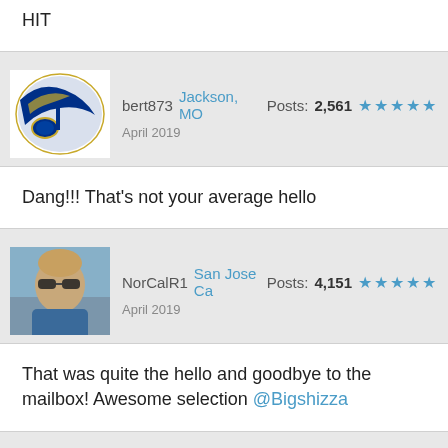HIT
bert873 Jackson, MO Posts: 2,561 ★★★★★ April 2019
Dang!!! That's not your average hello
NorCalR1 San Jose Ca Posts: 4,151 ★★★★★ April 2019
That was quite the hello and goodbye to the mailbox! Awesome selection @Bigshizza
th...808 St. Louis, MO Posts: 2,010 ★★★★★